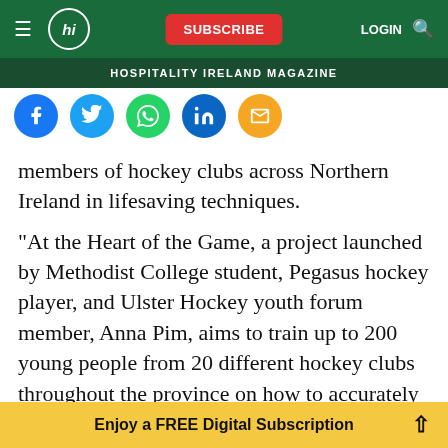HOSPITALITY IRELAND MAGAZINE
[Figure (screenshot): Social share icons: Facebook (blue), Twitter (light blue), WhatsApp (green), LinkedIn (dark blue), Email (orange)]
members of hockey clubs across Northern Ireland in lifesaving techniques.
"At the Heart of the Game, a project launched by Methodist College student, Pegasus hockey player, and Ulster Hockey youth forum member, Anna Pim, aims to train up to 200 young people from 20 different hockey clubs throughout the province on how to accurately perform cardiopulmonary resuscitation (CPR) and have the confidence to use a
Enjoy a FREE Digital Subscription